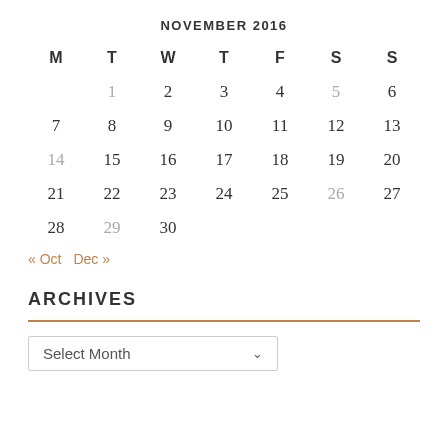NOVEMBER 2016
| M | T | W | T | F | S | S |
| --- | --- | --- | --- | --- | --- | --- |
|  | 1 | 2 | 3 | 4 | 5 | 6 |
| 7 | 8 | 9 | 10 | 11 | 12 | 13 |
| 14 | 15 | 16 | 17 | 18 | 19 | 20 |
| 21 | 22 | 23 | 24 | 25 | 26 | 27 |
| 28 | 29 | 30 |  |  |  |  |
« Oct   Dec »
ARCHIVES
Select Month